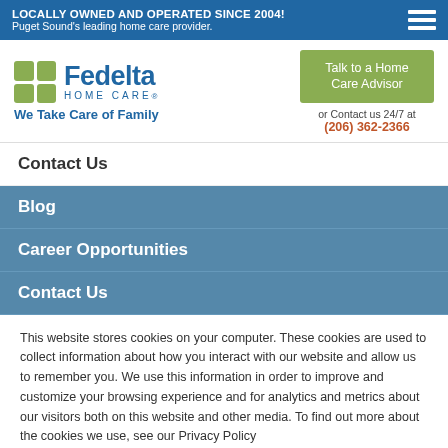LOCALLY OWNED AND OPERATED SINCE 2004! Puget Sound's leading home care provider.
[Figure (logo): Fedelta Home Care logo with green grid icon and blue text, tagline: We Take Care of Family]
Talk to a Home Care Advisor
or Contact us 24/7 at (206) 362-2366
Contact Us
Blog
Career Opportunities
Contact Us
This website stores cookies on your computer. These cookies are used to collect information about how you interact with our website and allow us to remember you. We use this information in order to improve and customize your browsing experience and for analytics and metrics about our visitors both on this website and other media. To find out more about the cookies we use, see our Privacy Policy
Accept